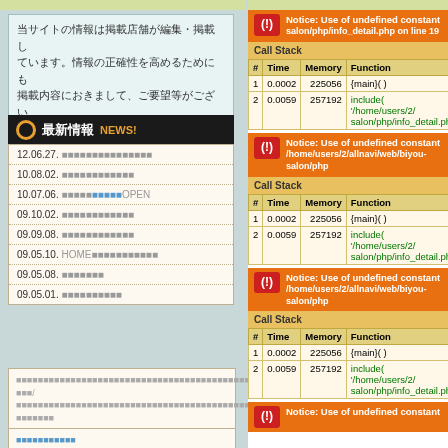当サイトの情報は掲載店舗が編集・掲載しています。情報の正確性を高めるためにも掲載内容におきまして、ご要望等がございましたらお問い合わせより ご連絡下さい。
最新情報 NEWS!
12.06.27.
10.08.02.
10.07.06. OPEN
09.10.02.
09.09.08.
09.05.10. HOME
09.05.08.
09.05.01.
Notice: Use of undefined constant salon/php/info_detail.php on line 19
| # | Time | Memory | Function |
| --- | --- | --- | --- |
| 1 | 0.0002 | 225056 | {main}( ) |
| 2 | 0.0059 | 257192 | include( '/home/users/2/ salon/php/info_detail.ph |
Notice: Use of undefined constant /home/users/2/allnavi/web/biyou-salon/php
| # | Time | Memory | Function |
| --- | --- | --- | --- |
| 1 | 0.0002 | 225056 | {main}( ) |
| 2 | 0.0059 | 257192 | include( '/home/users/2/ salon/php/info_detail.ph |
Notice: Use of undefined constant /home/users/2/allnavi/web/biyou-salon/php
| # | Time | Memory | Function |
| --- | --- | --- | --- |
| 1 | 0.0002 | 225056 | {main}( ) |
| 2 | 0.0059 | 257192 | include( '/home/users/2/ salon/php/info_detail.ph |
Notice: Use of undefined constant